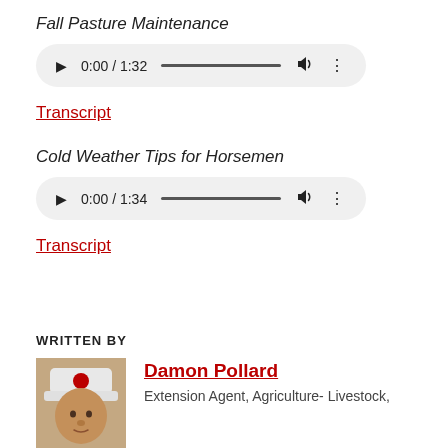Fall Pasture Maintenance
[Figure (screenshot): Audio player showing 0:00 / 1:32 with play button, progress bar, volume, and more options]
Transcript
Cold Weather Tips for Horsemen
[Figure (screenshot): Audio player showing 0:00 / 1:34 with play button, progress bar, volume, and more options]
Transcript
WRITTEN BY
Damon Pollard
Extension Agent, Agriculture- Livestock,